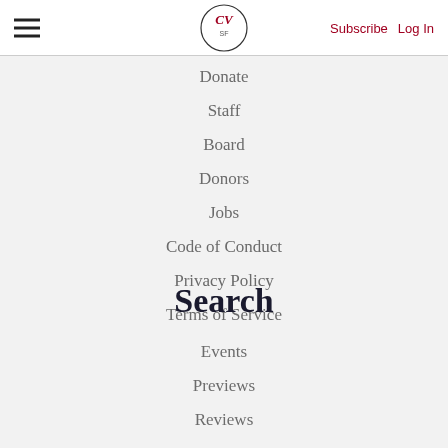CV SF | Subscribe | Log In
Donate
Staff
Board
Donors
Jobs
Code of Conduct
Privacy Policy
Terms of Service
Search
Events
Previews
Reviews
Features
Artist Spotlights